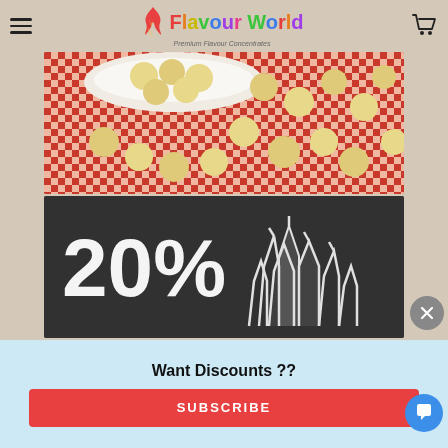Flavour World — Premium Flavour Concentrates
[Figure (photo): Round beige dough balls on a red and white checkered cloth with a white plate visible, shot from above]
[Figure (photo): Dark chalkboard background with bold white text '20%' on the left and a chalk drawing of a crystal/salt formation on the right]
Want Discounts ??
SUBSCRIBE